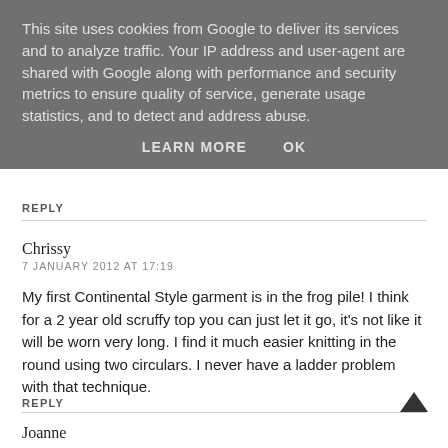This site uses cookies from Google to deliver its services and to analyze traffic. Your IP address and user-agent are shared with Google along with performance and security metrics to ensure quality of service, generate usage statistics, and to detect and address abuse.
LEARN MORE   OK
REPLY
Chrissy
7 JANUARY 2012 AT 17:19
My first Continental Style garment is in the frog pile! I think for a 2 year old scruffy top you can just let it go, it's not like it will be worn very long. I find it much easier knitting in the round using two circulars. I never have a ladder problem with that technique.
REPLY
Joanne